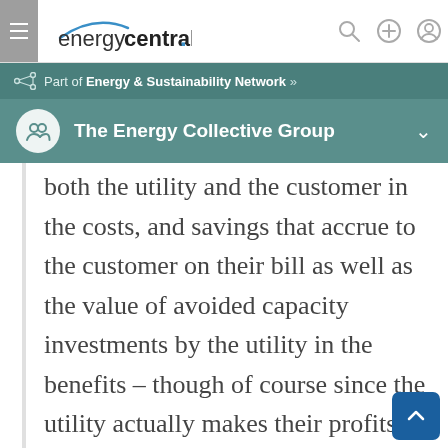energycentral.
Part of Energy & Sustainability Network »
The Energy Collective Group
both the utility and the customer in the costs, and savings that accrue to the customer on their bill as well as the value of avoided capacity investments by the utility in the benefits – though of course since the utility actually makes their profits by spending money on things like generation capacity, they probably